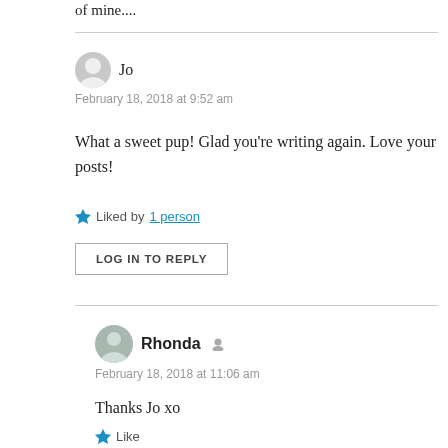of mine....
Jo
February 18, 2018 at 9:52 am
What a sweet pup! Glad you're writing again. Love your posts!
Liked by 1 person
LOG IN TO REPLY
Rhonda
February 18, 2018 at 11:06 am
Thanks Jo xo
Like